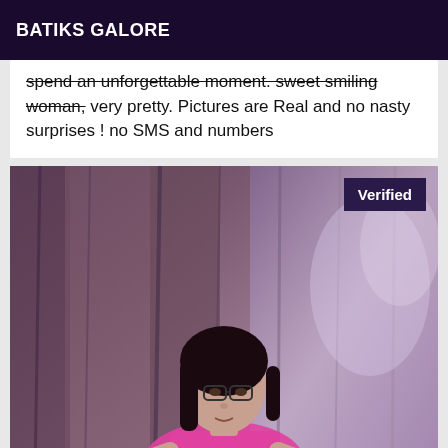BATIKS GALORE
spend an unforgettable moment. sweet smiling woman, very pretty. Pictures are Real and no nasty surprises ! no SMS and numbers
[Figure (photo): A woman with dark hair and glasses wearing a pink top, seated in front of a wooden background with purple and brown tones. A 'Verified' badge appears in the top right corner of the photo.]